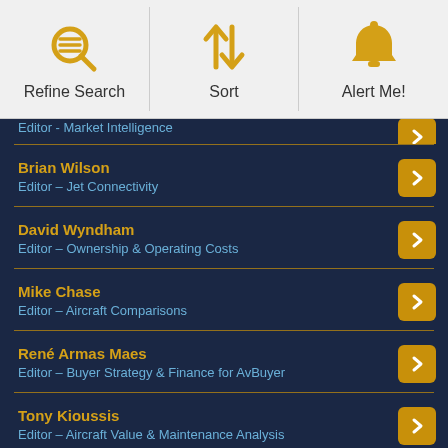[Figure (screenshot): Mobile app toolbar with three icon buttons: Refine Search (magnifying glass with lines), Sort (up/down arrows), Alert Me! (bell icon)]
Editor - Market Intelligence
Brian Wilson
Editor – Jet Connectivity
David Wyndham
Editor – Ownership & Operating Costs
Mike Chase
Editor – Aircraft Comparisons
René Armas Maes
Editor – Buyer Strategy & Finance for AvBuyer
Tony Kioussis
Editor – Aircraft Value & Maintenance Analysis